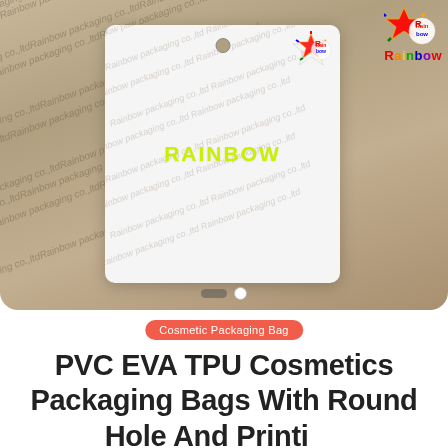[Figure (photo): A white rectangular card with a round hole at the top center and a Rainbow Packaging Co.,Ltd logo at the top right, placed on a wooden surface background. The card has a watermark pattern and yellow-green RAINBOW text in the center. A product image carousel with navigation dots is visible at the bottom of the photo area.]
Cosmetic Packaging Bag
PVC EVA TPU Cosmetics Packaging Bags With Round Hole And Printing